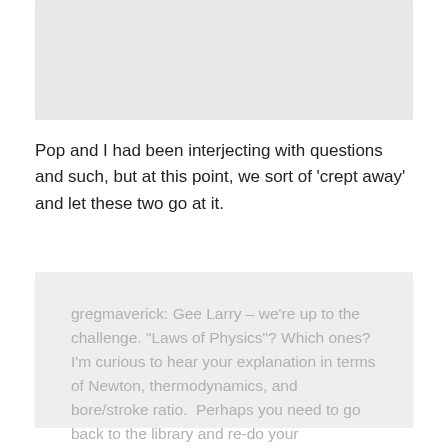[Figure (other): Gray rectangular image placeholder at top of page]
Pop and I had been interjecting with questions and such, but at this point, we sort of 'crept away' and let these two go at it.
gregmaverick: Gee Larry – we're up to the challenge. "Laws of Physics"? Which ones?  I'm curious to hear your explanation in terms of Newton, thermodynamics, and bore/stroke ratio.  Perhaps you need to go back to the library and re-do your homework…?